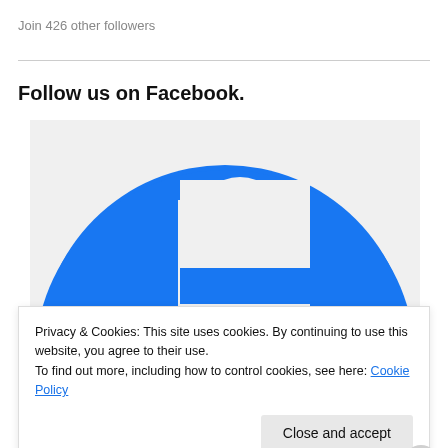Join 426 other followers
Follow us on Facebook.
[Figure (logo): Facebook logo — large blue 'f' icon on light grey background, cropped showing upper portion]
Privacy & Cookies: This site uses cookies. By continuing to use this website, you agree to their use.
To find out more, including how to control cookies, see here: Cookie Policy
Close and accept